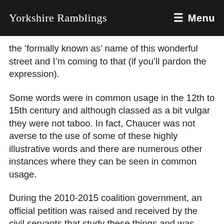Yorkshire Ramblings | Menu
the ‘formally known as’ name of this wonderful street and I’m coming to that (if you’ll pardon the expression).
Some words were in common usage in the 12th to 15th century and although classed as a bit vulgar they were not taboo. In fact, Chaucer was not averse to the use of some of these highly illustrative words and there are numerous other instances where they can be seen in common usage.
During the 2010-2015 coalition government, an official petition was raised and received by the civil servants that study these things and was rejected because street names are not a function of national government so reinstating the names of all of the lanes.